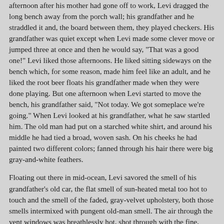afternoon after his mother had gone off to work, Levi dragged the long bench away from the porch wall; his grandfather and he straddled it and, the board between them, they played checkers. His grandfather was quiet except when Levi made some clever move or jumped three at once and then he would say, "That was a good one!" Levi liked those afternoons. He liked sitting sideways on the bench which, for some reason, made him feel like an adult, and he liked the root beer floats his grandfather made when they were done playing. But one afternoon when Levi started to move the bench, his grandfather said, "Not today. We got someplace we're going." When Levi looked at his grandfather, what he saw startled him. The old man had put on a starched white shirt, and around his middle he had tied a broad, woven sash. On his cheeks he had painted two different colors; fanned through his hair there were big gray-and-white feathers.
Floating out there in mid-ocean, Levi savored the smell of his grandfather's old car, the flat smell of sun-heated metal too hot to touch and the smell of the faded, gray-velvet upholstery, both those smells intermixed with pungent old-man smell. The air through the vent windows was breathlessly hot, shot through with the fine, grainy dust the tires kicked up. With room to spare overhead, Levi stood on the front seat, one arm around his grandfather's copper-red, deeply-creased neck.
What Levi remembered most about that afternoon was the sound of